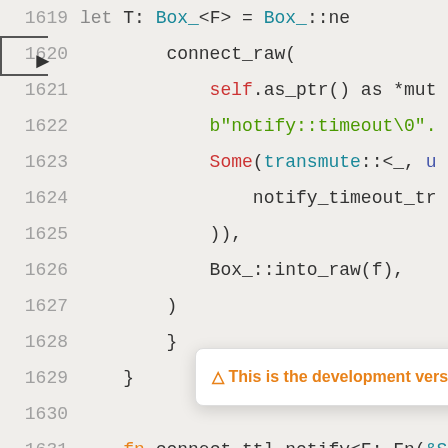[Figure (screenshot): Code editor screenshot showing Rust source code lines 1619-1637 with syntax highlighting. Lines show connect_raw call, self.as_ptr(), b"notify::timeout\0"., Some(transmute::<_, u..., notify_timeout_tr..., )), Box_::into_raw(f), closing parenthesis/brackets, fn connect_ttl_notify<F: Fn(&Self..., unsafe extern "C" fn notify_t..., this: *mut ffi::GSocket,, let T: &F = &*(T as *cons... A toast notification overlay reads: triangle This is the development version. Go to latest stable version.]